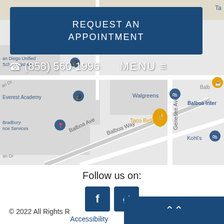[Figure (map): Google Maps screenshot showing streets near Balboa Ave and Genesee Ave in San Diego, with landmarks including Walgreens, Taco Bell, Kohl's, Everest Academy, Bradbury Insurance Services, San Diego Unified School District, and Vallarta Express Mexican Eatery.]
REQUEST AN APPOINTMENT
☎ (858) 560-1996   MENU ≡
Follow us on:
[Figure (logo): Facebook icon button (f) in dark blue square]
[Figure (logo): Google+ icon button (g+) in dark blue square]
© 2022 All Rights R
Accessibility